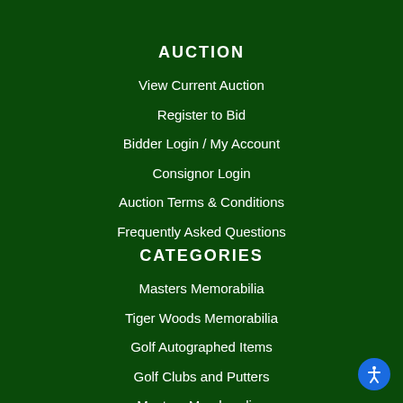AUCTION
View Current Auction
Register to Bid
Bidder Login / My Account
Consignor Login
Auction Terms & Conditions
Frequently Asked Questions
CATEGORIES
Masters Memorabilia
Tiger Woods Memorabilia
Golf Autographed Items
Golf Clubs and Putters
Masters Merchandise
Sports Memorabilia